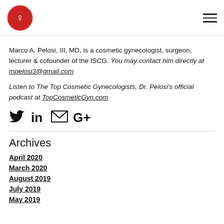ISCG logo and navigation menu
Marco A. Pelosi, III, MD, is a cosmetic gynecologist, surgeon, lecturer & cofounder of the ISCG. You may contact him directly at mpelosi3@gmail.com
Listen to The Top Cosmetic Gynecologists, Dr. Pelosi's official podcast at TopCosmeticGyn.com
[Figure (infographic): Social media icons: Twitter, LinkedIn, Email, Google+]
Archives
April 2020
March 2020
August 2019
July 2019
May 2019